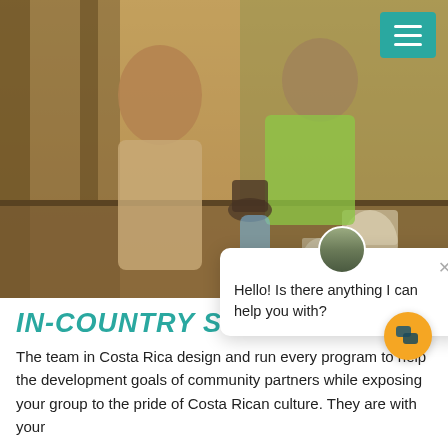[Figure (photo): Two people working together at a rustic wooden workbench in an open-air structure. A young man with curly hair and a beige t-shirt is focused on working with clay pottery on a small stand, wearing sunglasses around his neck. A woman in a yellow-green athletic tank top leans over the table watching. Jars and pottery materials are on the table. Background shows a thatched/wood structure.]
Hello! Is there anything I can help you with?
IN-COUNTRY STAFF
The team in Costa Rica design and run every program to help the development goals of community partners while exposing your group to the pride of Costa Rican culture. They are with your